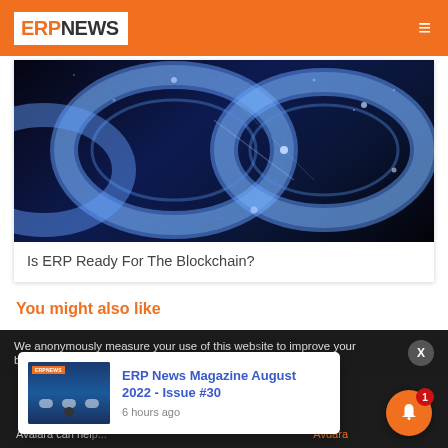ERP NEWS
[Figure (photo): Close-up photo of a glowing blue wireframe chain links on a dark background, symbolizing blockchain technology]
Is ERP Ready For The Blockchain?
You might also like
We anonymously measure your use of this website to improve your best experience on
[Figure (screenshot): ERP News Magazine August 2022 - Issue #30 notification popup card showing magazine thumbnail and publication time of 6 hours ago]